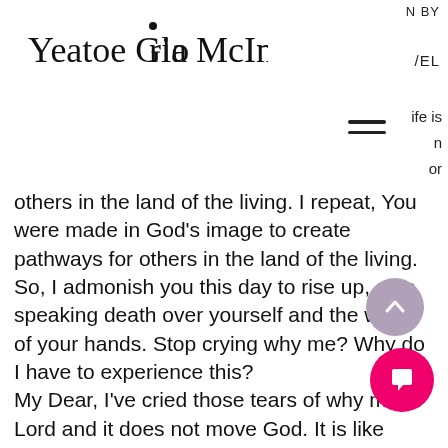N BY
[Figure (logo): Cursive script signature logo reading 'Yeatoe Gloria McIntosh' with a small decorative dot/bird above the letter 'i' in Gloria]
/EL
ife is
n
or
others in the land of the living. I repeat, You were made in God’s image to create pathways for others in the land of the living. So, I admonish you this day to rise up, stop speaking death over yourself and the works of your hands. Stop crying why me? Why do I have to experience this?
My Dear, I’ve cried those tears of why me Lord and it does not move God. It is like complaining to a parent over something you have the energy to do.